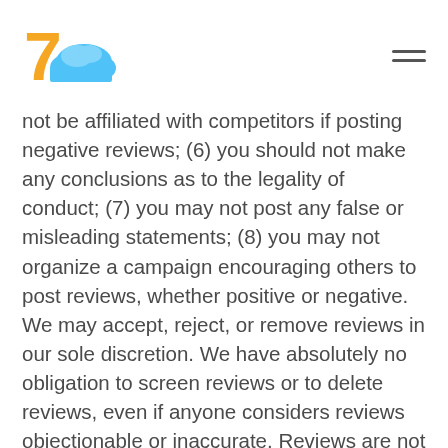[Logo: 7 cloud icon] [hamburger menu]
not be affiliated with competitors if posting negative reviews; (6) you should not make any conclusions as to the legality of conduct; (7) you may not post any false or misleading statements; (8) you may not organize a campaign encouraging others to post reviews, whether positive or negative.   We may accept, reject, or remove reviews in our sole discretion. We have absolutely no obligation to screen reviews or to delete reviews, even if anyone considers reviews objectionable or inaccurate. Reviews are not endorsed by us, and do not necessarily represent our opinions or the views of any of our affiliates or partners.   We do not assume liability for any review or for any claims, liabilities, or losses resulting from any review. By posting a review,